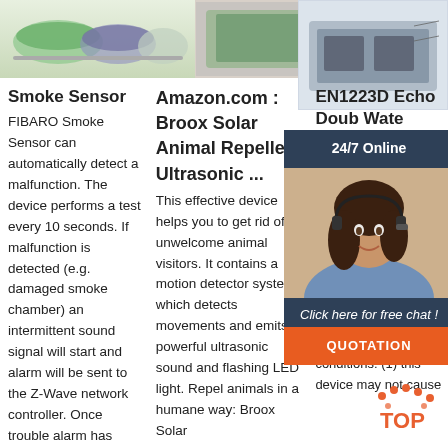[Figure (photo): Top strip: left product photo (green/teal items), middle product image with text overlay, right machine/equipment image]
Smoke Sensor
FIBARO Smoke Sensor can automatically detect a malfunction. The device performs a test every 10 seconds. If malfunction is detected (e.g. damaged smoke chamber) an intermittent sound signal will start and alarm will be sent to the Z-Wave network controller. Once trouble alarm has
Amazon.com : Broox Solar Animal Repeller, Ultrasonic ...
This effective device helps you to get rid of unwelcome animal visitors. It contains a motion detector system which detects movements and emits powerful ultrasonic sound and flashing LED light. Repel animals in a humane way: Broox Solar
EN1223D Echo Doub Wate
...
This d with p FCC R Industr license exempt RSS standard(s). Operation is subject to the following conditions: (1) this device may not cause
[Figure (photo): Customer service representative with headset, 24/7 Online chat overlay with orange QUOTATION button]